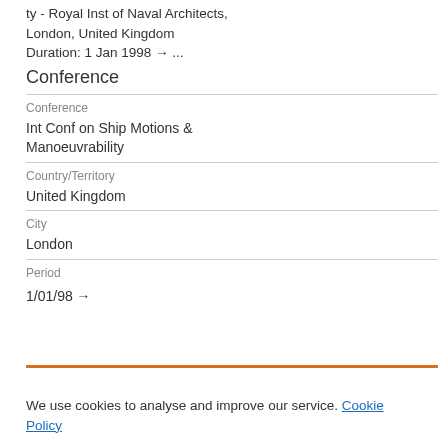ty - Royal Inst of Naval Architects, London, United Kingdom Duration: 1 Jan 1998 → ...
Conference
Conference
Int Conf on Ship Motions & Manoeuvrability
Country/Territory
United Kingdom
City
London
Period
1/01/98 →
We use cookies to analyse and improve our service. Cookie Policy